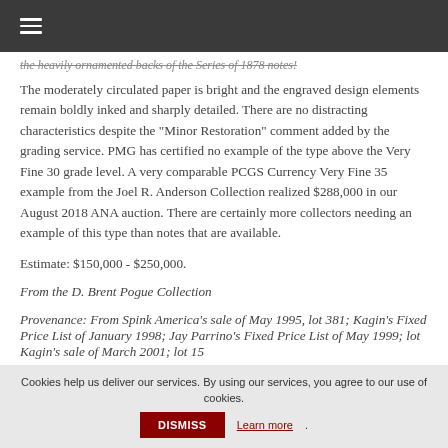≡ (navigation menu icon)
the heavily ornamented backs of the Series of 1878 notes!
The moderately circulated paper is bright and the engraved design elements remain boldly inked and sharply detailed. There are no distracting characteristics despite the "Minor Restoration" comment added by the grading service. PMG has certified no example of the type above the Very Fine 30 grade level. A very comparable PCGS Currency Very Fine 35 example from the Joel R. Anderson Collection realized $288,000 in our August 2018 ANA auction. There are certainly more collectors needing an example of this type than notes that are available.
Estimate: $150,000 - $250,000.
From the D. Brent Pogue Collection
Provenance: From Spink America's sale of May 1995, lot 381; Kagin's Fixed Price List of January 1998; Jay Parrino's Fixed Price List of May 1999; lot... (truncated)
Cookies help us deliver our services. By using our services, you agree to our use of cookies. DISMISS Learn more.